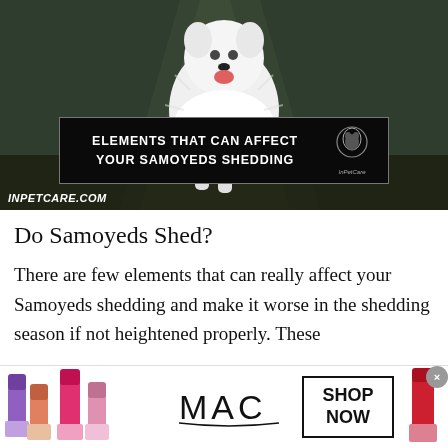[Figure (photo): A white Samoyed dog running toward the camera in a dark forest background, with a text overlay banner reading 'ELEMENTS THAT CAN AFFECT YOUR SAMOYEDS SHEDDING' and an InPetCare logo, watermark text INPETCARE.COM at bottom left.]
Do Samoyeds Shed?
There are few elements that can really affect your Samoyeds shedding and make it worse in the shedding season if not heightened properly. These
[Figure (advertisement): MAC Cosmetics advertisement banner showing colorful lipsticks on the left and right, MAC logo in center, and a SHOP NOW button with black border.]